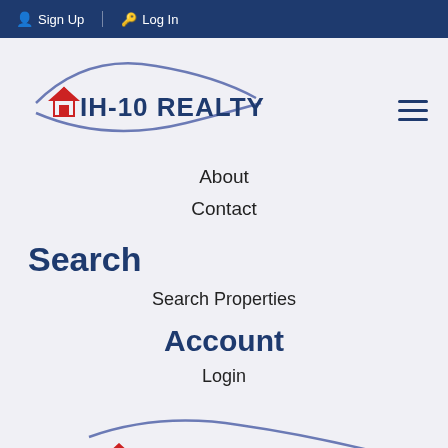Sign Up  Log In
[Figure (logo): IH-10 Realty logo with swoosh arc design and red house icon]
About
Contact
Search
Search Properties
Account
Login
[Figure (logo): IH-10 Realty logo (partial, cropped at bottom)]